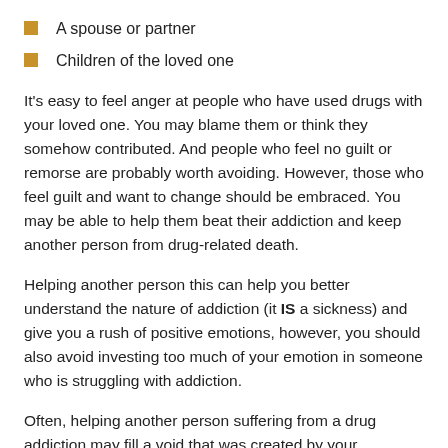A spouse or partner
Children of the loved one
It's easy to feel anger at people who have used drugs with your loved one. You may blame them or think they somehow contributed. And people who feel no guilt or remorse are probably worth avoiding. However, those who feel guilt and want to change should be embraced. You may be able to help them beat their addiction and keep another person from drug-related death.
Helping another person this can help you better understand the nature of addiction (it IS a sickness) and give you a rush of positive emotions, however, you should also avoid investing too much of your emotion in someone who is struggling with addiction.
Often, helping another person suffering from a drug addiction may fill a void that was created by your deceased loved one. But, if this person struggles to get sober while you are investing your energy and attention to addiction…